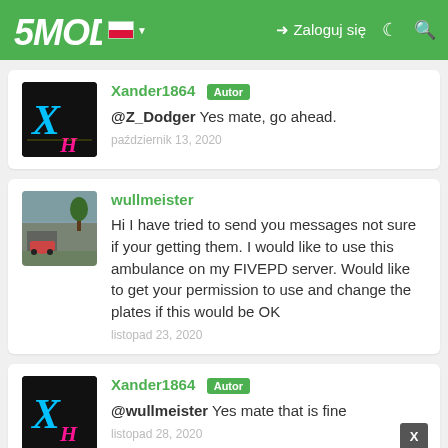5MODS | Zaloguj się
Xander1864 Autor
@Z_Dodger Yes mate, go ahead.
październik 13, 2020
wullmeister
Hi I have tried to send you messages not sure if your getting them. I would like to use this ambulance on my FIVEPD server. Would like to get your permission to use and change the plates if this would be OK
listopad 23, 2020
Xander1864 Autor
@wullmeister Yes mate that is fine
listopad 28, 2020
Erkson53
Nice one!